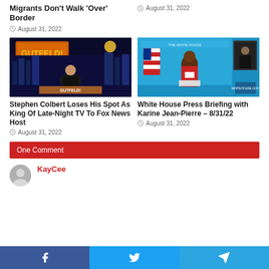Migrants Don't Walk 'Over' Border
August 31, 2022
August 31, 2022
[Figure (photo): Gutfeld! TV show — man in dark suit sitting on stage set]
Stephen Colbert Loses His Spot As King Of Late-Night TV To Fox News Host
August 31, 2022
[Figure (photo): White House Press Briefing with Karine Jean-Pierre — woman in red jacket at podium]
White House Press Briefing with Karine Jean-Pierre – 8/31/22
August 31, 2022
One Comment
KayCee